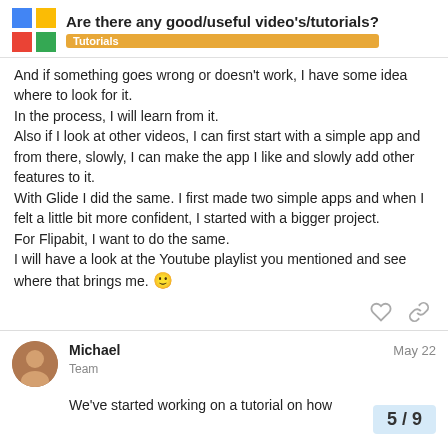Are there any good/useful video's/tutorials? | Tutorials
And if something goes wrong or doesn't work, I have some idea where to look for it.
In the process, I will learn from it.
Also if I look at other videos, I can first start with a simple app and from there, slowly, I can make the app I like and slowly add other features to it.
With Glide I did the same. I first made two simple apps and when I felt a little bit more confident, I started with a bigger project.
For Flipabit, I want to do the same.
I will have a look at the Youtube playlist you mentioned and see where that brings me. 🙂
Michael
Team
May 22
We've started working on a tutorial on how